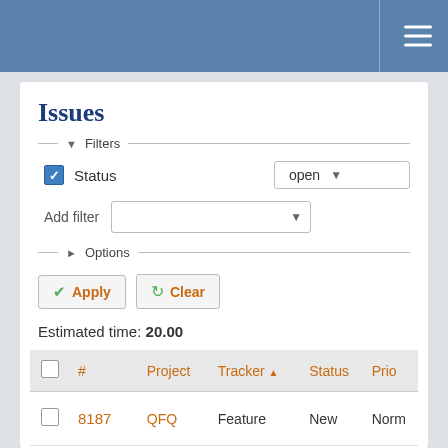Navigation bar with hamburger menu
Issues
▾ Filters
Status  open
Add filter
▸ Options
Apply
Clear
Estimated time: 20.00
| # | Project | Tracker ↑ | Status | Prio |
| --- | --- | --- | --- | --- |
| 8187 | QFQ | Feature | New | Norm |
| 12038 | QFQ | Feature | New | Norm |